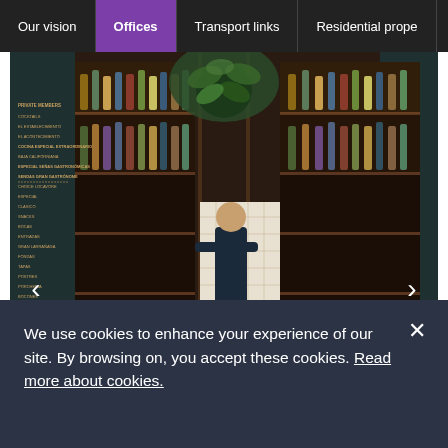Our vision | Offices | Transport links | Residential prope
[Figure (photo): Bar/restaurant interior scene with bartender behind counter, patrons seated at bar, illuminated shelving with bottles, hexagonal tile backsplash, decorative chandelier, menu board on left wall. Caption overlay: 'Early illustration']
Early illustration
We use cookies to enhance your experience of our site. By browsing on, you accept these cookies. Read more about cookies.